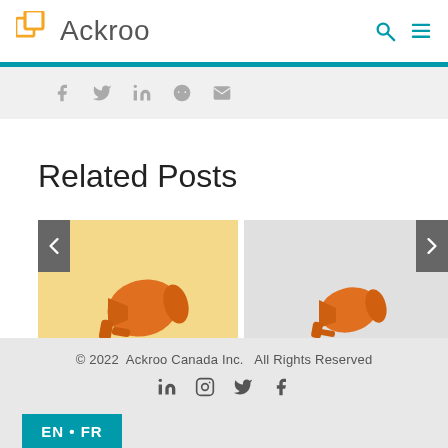Ackroo
[Figure (screenshot): Social share icons: Facebook, Twitter, LinkedIn, Reddit, Email]
Related Posts
[Figure (photo): Two related post cards with orange megaphone images. Left card has yellow background, right card has gray background. Navigation arrows on each side.]
© 2022  Ackroo Canada Inc.   All Rights Reserved